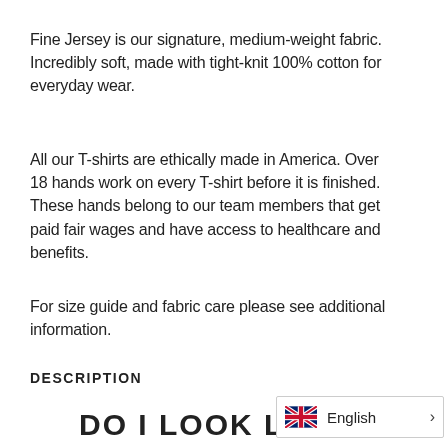Fine Jersey is our signature, medium-weight fabric. Incredibly soft, made with tight-knit 100% cotton for everyday wear.
All our T-shirts are ethically made in America. Over 18 hands work on every T-shirt before it is finished. These hands belong to our team members that get paid fair wages and have access to healthcare and benefits.
For size guide and fabric care please see additional information.
DESCRIPTION
DO I LOOK LIKE I FLY BUSINESS/FIRST? T-SH
[Figure (other): Language selector widget showing UK flag and 'English' text with a right-pointing chevron arrow.]